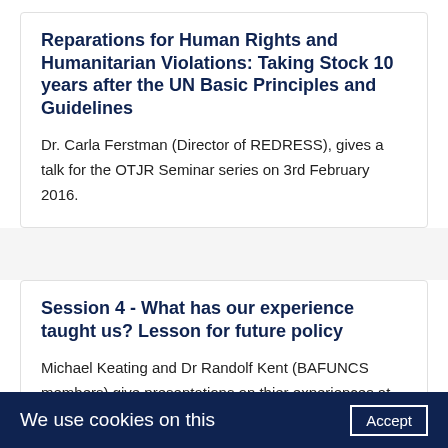Reparations for Human Rights and Humanitarian Violations: Taking Stock 10 years after the UN Basic Principles and Guidelines
Dr. Carla Ferstman (Director of REDRESS), gives a talk for the OTJR Seminar series on 3rd February 2016.
Session 4 - What has our experience taught us? Lesson for future policy
Michael Keating and Dr Randolf Kent (BAFUNCS members) give presentations on thier experiences at the UN. Followed by a discussion moderated by Sir Adam Roberts.
We use cookies on this